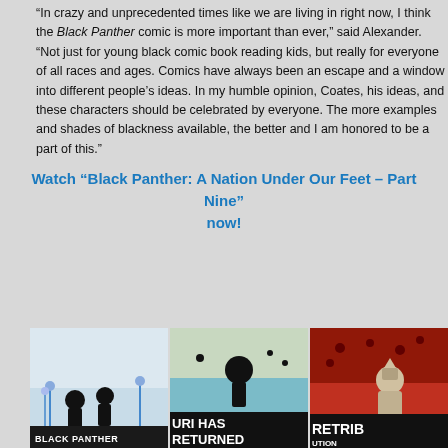“In crazy and unprecedented times like we are living in right now, I think the Black Panther comic is more important than ever,” said Alexander. “Not just for young black comic book reading kids, but really for everyone of all races and ages. Comics have always been an escape and a window into different people’s ideas. In my humble opinion, Coates, his ideas, and these characters should be celebrated by everyone. The more examples and shades of blackness available, the better and I am honored to be a part of this.”
Watch “Black Panther: A Nation Under Our Feet – Part Nine” now!
[Figure (illustration): Three comic book cover panels side by side. First panel shows Black Panther silhouette figures with text 'BLACK PANTHER' at bottom. Second panel shows a character with text 'URI HAS' and 'RETURNED' at bottom on teal/blue background. Third panel shows a character with red/dark background and partial text 'RETRIB' at bottom.]